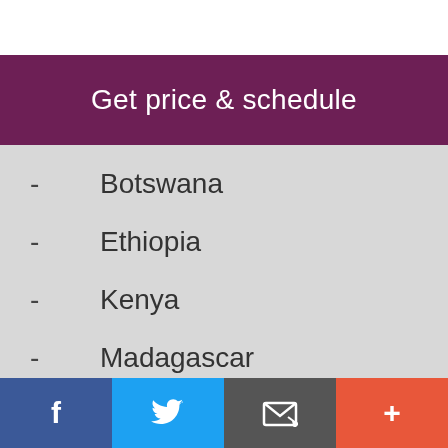Get price & schedule
- Botswana
- Ethiopia
- Kenya
- Madagascar
- Malawi
- Mozambique
- Namibia
- Rwanda
- South Africa
- Swaziland
Facebook  Twitter  Email  More